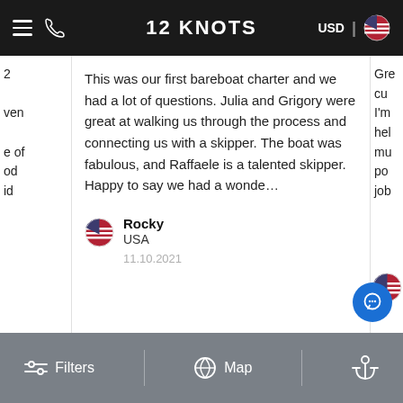12 KNOTS
This was our first bareboat charter and we had a lot of questions. Julia and Grigory were great at walking us through the process and connecting us with a skipper. The boat was fabulous, and Raffaele is a talented skipper. Happy to say we had a wonde…
Rocky
USA
11.10.2021
Filters | Map